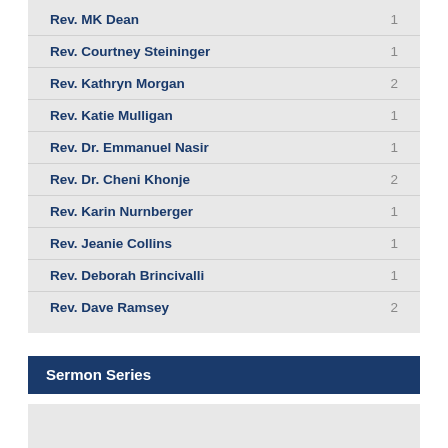Rev. MK Dean   1
Rev. Courtney Steininger   1
Rev. Kathryn Morgan   2
Rev. Katie Mulligan   1
Rev. Dr. Emmanuel Nasir   1
Rev. Dr. Cheni Khonje   2
Rev. Karin Nurnberger   1
Rev. Jeanie Collins   1
Rev. Deborah Brincivalli   1
Rev. Dave Ramsey   2
Sermon Series